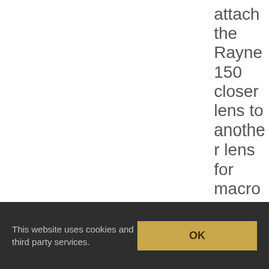attach the Rayne 150 closer lens to another lens for macro
I haven read enough
This website uses cookies and third party services.